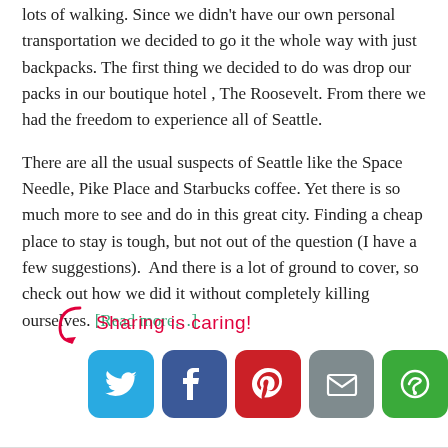lots of walking. Since we didn't have our own personal transportation we decided to go it the whole way with just backpacks. The first thing we decided to do was drop our packs in our boutique hotel , The Roosevelt. From there we had the freedom to experience all of Seattle.
There are all the usual suspects of Seattle like the Space Needle, Pike Place and Starbucks coffee. Yet there is so much more to see and do in this great city. Finding a cheap place to stay is tough, but not out of the question (I have a few suggestions).  And there is a lot of ground to cover, so check out how we did it without completely killing ourselves. [Read more…]
[Figure (infographic): Sharing is caring! label with arrow and social sharing buttons: Twitter (blue bird), Facebook (blue f), Pinterest (red P), Email (gray envelope), More (green circle-arrow icon)]